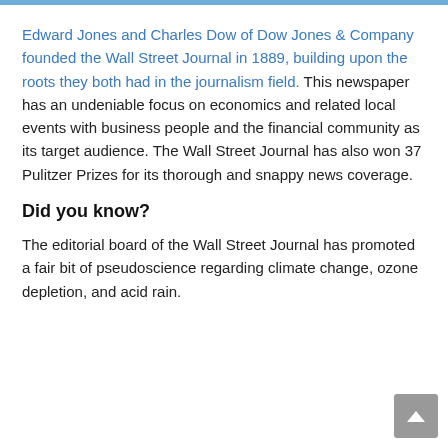Edward Jones and Charles Dow of Dow Jones & Company founded the Wall Street Journal in 1889, building upon the roots they both had in the journalism field. This newspaper has an undeniable focus on economics and related local events with business people and the financial community as its target audience. The Wall Street Journal has also won 37 Pulitzer Prizes for its thorough and snappy news coverage.
Did you know?
The editorial board of the Wall Street Journal has promoted a fair bit of pseudoscience regarding climate change, ozone depletion, and acid rain.